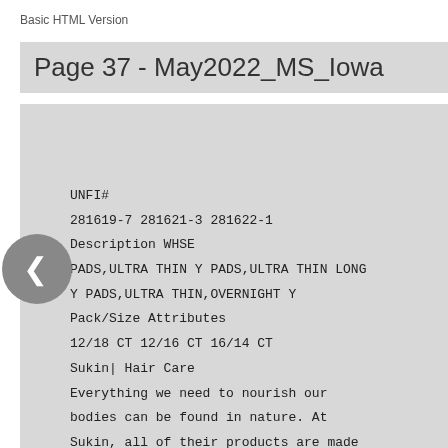Basic HTML Version
Page 37 - May2022_MS_Iowa
UNFI#
281619-7 281621-3 281622-1
Description WHSE
PADS,ULTRA THIN Y PADS,ULTRA THIN LONG Y PADS,ULTRA THIN,OVERNIGHT Y
Pack/Size Attributes
12/18 CT 12/16 CT 16/14 CT
Sukin| Hair Care
Everything we need to nourish our bodies can be found in nature. At Sukin, all of their products are made